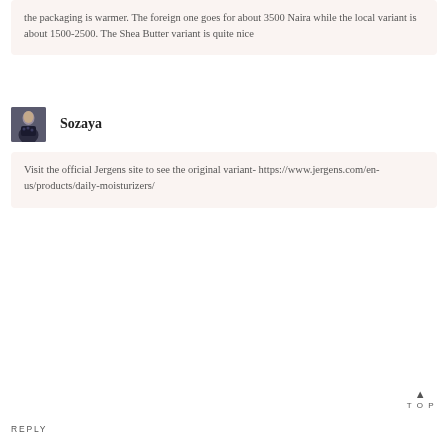the packaging is warmer. The foreign one goes for about 3500 Naira while the local variant is about 1500-2500. The Shea Butter variant is quite nice
[Figure (photo): Small avatar photo of user Sozaya, a person in dark clothing]
Sozaya
Visit the official Jergens site to see the original variant- https://www.jergens.com/en-us/products/daily-moisturizers/
TOP
REPLY